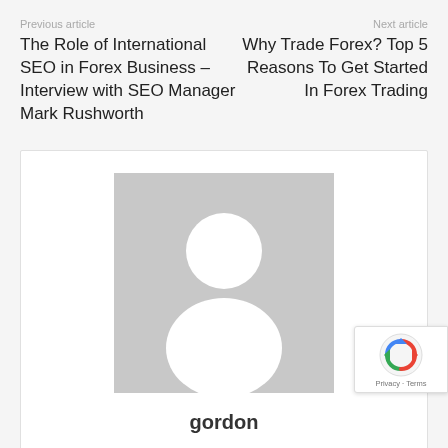Previous article
Next article
The Role of International SEO in Forex Business – Interview with SEO Manager Mark Rushworth
Why Trade Forex? Top 5 Reasons To Get Started In Forex Trading
[Figure (photo): Generic user avatar placeholder: grey square with white silhouette person icon]
gordon
RELATED ARTICLES
MORE FROM AUTHOR